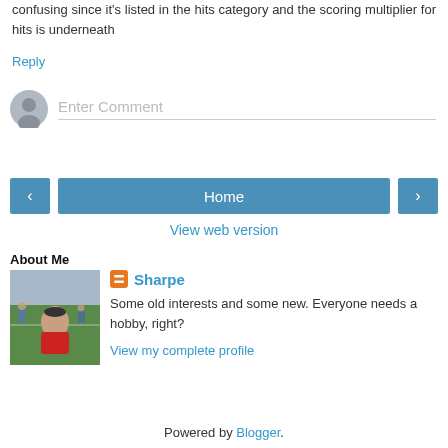confusing since it's listed in the hits category and the scoring multiplier for hits is underneath
Reply
Enter Comment
Home
View web version
About Me
[Figure (photo): Profile photo of a man in a red shirt at a sports field]
Sharpe
Some old interests and some new. Everyone needs a hobby, right?
View my complete profile
Powered by Blogger.